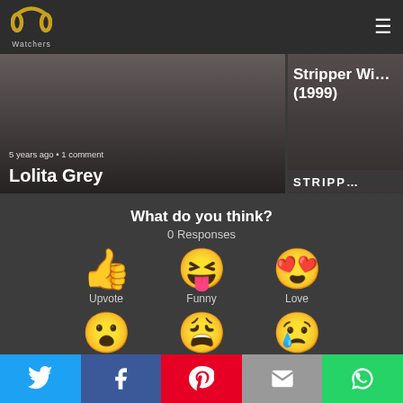Watchers - navigation header with logo and menu
[Figure (screenshot): Card showing '5 years ago • 1 comment' and title 'Lolita Grey']
[Figure (screenshot): Card showing 'Stripper Wi... (1999)' with STRIPP... text at bottom]
What do you think?
0 Responses
[Figure (infographic): Reaction emoji row 1: Upvote (thumbs up), Funny (laughing face with tongue), Love (heart eyes face)]
[Figure (infographic): Reaction emoji row 2: Surprised (open mouth face), Angry (crying weary face), Sad (sad face with tear)]
Social share bar: Twitter, Facebook, Pinterest, Email, WhatsApp